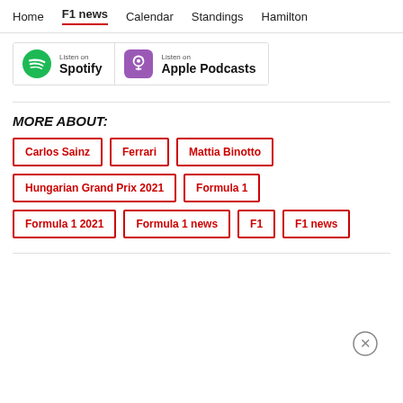Home | F1 news | Calendar | Standings | Hamilton
[Figure (screenshot): Listen on Spotify and Listen on Apple Podcasts badges]
MORE ABOUT:
Carlos Sainz
Ferrari
Mattia Binotto
Hungarian Grand Prix 2021
Formula 1
Formula 1 2021
Formula 1 news
F1
F1 news